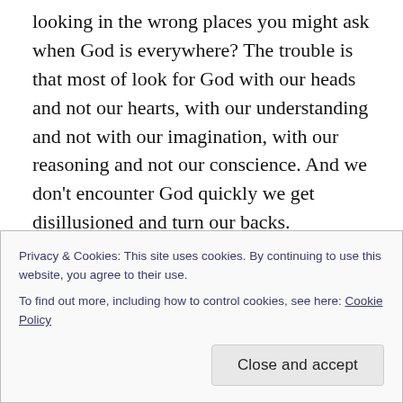looking in the wrong places you might ask when God is everywhere? The trouble is that most of look for God with our heads and not our hearts, with our understanding and not with our imagination, with our reasoning and not our conscience. And we don't encounter God quickly we get disillusioned and turn our backs.
You cannot meet God face to face and live the Old Testament prophets often proclaimed. God's greatness passes all comprehension. God's love and holiness is beyond our imagining. Even a glimpse of who this God
Privacy & Cookies: This site uses cookies. By continuing to use this website, you agree to their use.
To find out more, including how to control cookies, see here: Cookie Policy
Close and accept